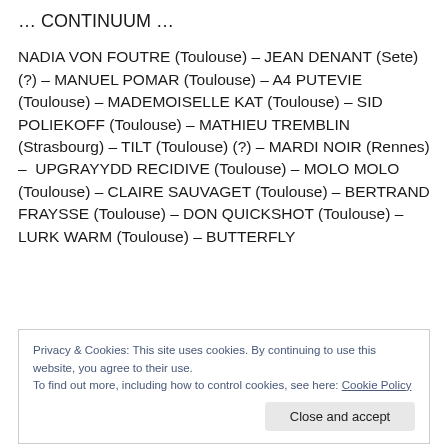… CONTINUUM …
NADIA VON FOUTRE (Toulouse) – JEAN DENANT (Sete) (?) – MANUEL POMAR (Toulouse) – A4 PUTEVIE (Toulouse) – MADEMOISELLE KAT (Toulouse) – SID POLIEKOFF (Toulouse) – MATHIEU TREMBLIN (Strasbourg) – TILT (Toulouse) (?) – MARDI NOIR (Rennes) –  UPGRAYYDD RECIDIVE (Toulouse) – MOLO MOLO (Toulouse) – CLAIRE SAUVAGET (Toulouse) – BERTRAND FRAYSSE (Toulouse) – DON QUICKSHOT (Toulouse) – LURK WARM (Toulouse) – BUTTERFLY
Privacy & Cookies: This site uses cookies. By continuing to use this website, you agree to their use.
To find out more, including how to control cookies, see here: Cookie Policy
Close and accept